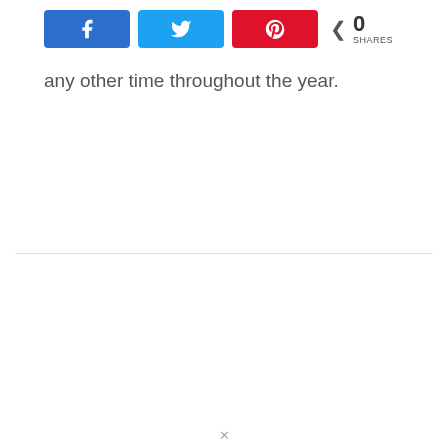[Figure (screenshot): Social media share buttons: Facebook (blue), Twitter (light blue), Pinterest (red), and a share count showing 0 SHARES]
any other time throughout the year.